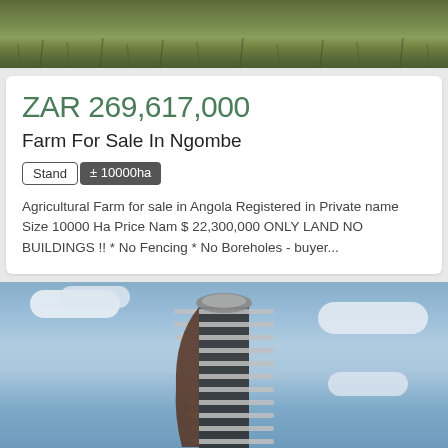[Figure (photo): Top portion of grass/ground aerial or landscape photo, cropped]
ZAR 269,617,000
Farm For Sale In Ngombe
Stand  ± 10000ha
Agricultural Farm for sale in Angola Registered in Private name Size 10000 Ha Price Nam $ 22,300,000 ONLY LAND NO BUILDINGS !! * No Fencing * No Boreholes - buyer...
[Figure (photo): Photo of a modern tall skyscraper/tower building with curved balconies against a blue sky with white clouds]